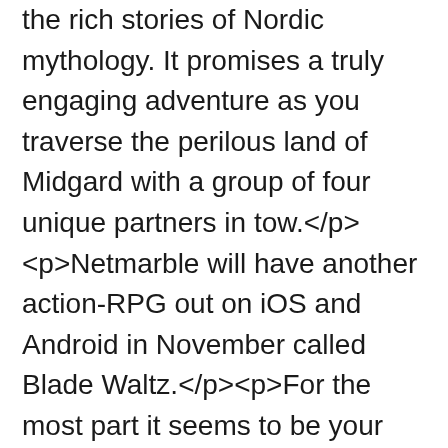the rich stories of Nordic mythology. It promises a truly engaging adventure as you traverse the perilous land of Midgard with a group of four unique partners in tow.</p><p>Netmarble will have another action-RPG out on iOS and Android in November called Blade Waltz.</p><p>For the most part it seems to be your standard fare but on further inspection a tag-team battle system is revealed.</p><p>All this means is that you can tag in any of your three party members if the current one's fighting style isn't working out for you.</p><p>You can also summon allies in for huge finisher moves against the biggest beasts you attempt to slay.</p><p>As to who you can tag in, well, Netmarble has only shown off the three main characters so far (whether there are more than this available is unclear). Here's some basic info on them:</p>Starfell - he's a well-mannered half-human and half Elem god who uses a broadsword on a quest to avenge his parents.Gordon - he grew up with machines and prefers mechanical armour and a large mace to deliver huge blows.Ellis